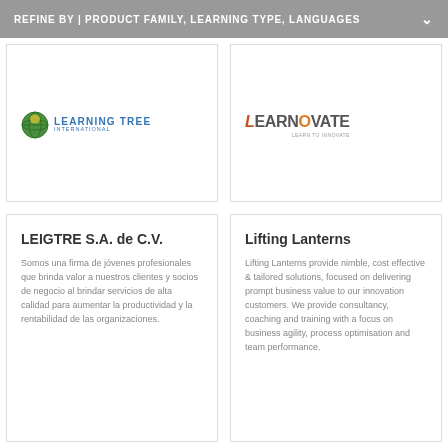REFINE BY | PRODUCT FAMILY, LEARNING TYPE, LANGUAGES
[Figure (logo): Learning Tree International logo with globe icon]
[Figure (logo): Learnovate logo in orange and grey]
LEIGTRE S.A. de C.V.
Somos una firma de jóvenes profesionales que brinda valor a nuestros clientes y socios de negocio al brindar servicios de alta calidad para aumentar la productividad y la rentabilidad de las organizaciones.
Lifting Lanterns
Lifting Lanterns provide nimble, cost effective & tailored solutions, focused on delivering prompt business value to our innovation customers. We provide consultancy, coaching and training with a focus on business agility, process optimisation and team performance.